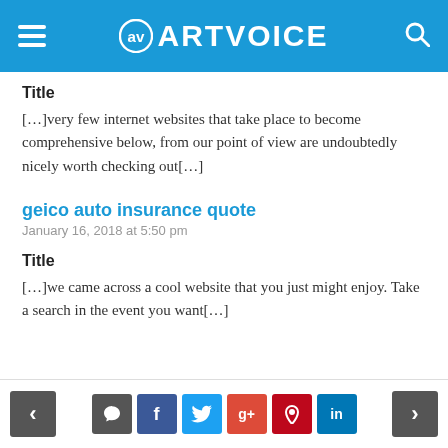ARTVOICE
Title
[…]very few internet websites that take place to become comprehensive below, from our point of view are undoubtedly nicely worth checking out[…]
geico auto insurance quote
January 16, 2018 at 5:50 pm
Title
[…]we came across a cool website that you just might enjoy. Take a search in the event you want[…]